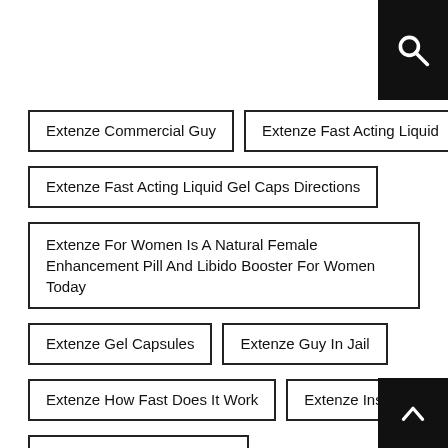Extenze Commercial Guy
Extenze Fast Acting Liquid
Extenze Fast Acting Liquid Gel Caps Directions
Extenze For Women Is A Natural Female Enhancement Pill And Libido Booster For Women Today
Extenze Gel Capsules
Extenze Guy In Jail
Extenze How Fast Does It Work
Extenze Instant Results
Extenze Last Longer In Bed
Extenze Male Enhancement Original Formula
Extenze Male Enhancement Website
Extenze On Amazon
Extenze On Sale
Extenze Original Formula Male Enhancement